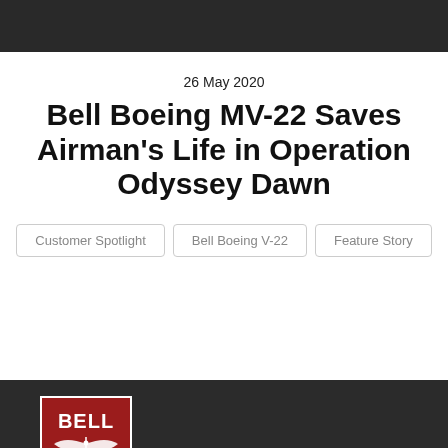[Figure (photo): Dark photograph at the top of the page, likely showing an aircraft or military scene.]
26 May 2020
Bell Boeing MV-22 Saves Airman's Life in Operation Odyssey Dawn
Customer Spotlight
Bell Boeing V-22
Feature Story
[Figure (logo): Bell helicopter logo — red shield with dragonfly and BELL text in white]